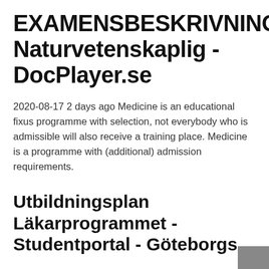EXAMENSBESKRIVNING. Naturvetenskaplig - DocPlayer.se
2020-08-17 2 days ago Medicine is an educational fixus programme with selection, not everybody who is admissible will also receive a training place. Medicine is a programme with (additional) admission requirements.
Utbildningsplan Läkarprogrammet - Studentportal - Göteborgs